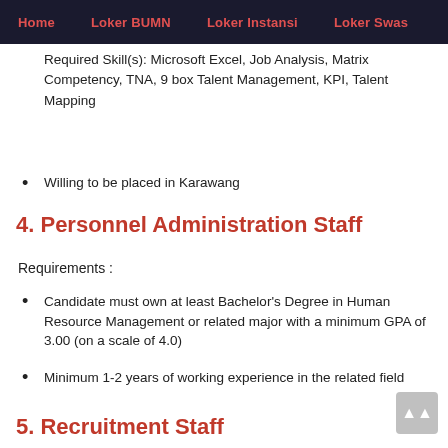Home   Loker BUMN   Loker Instansi   Loker Swas...
Minimum 2 years of working experience in the related
Required Skill(s): Microsoft Excel, Job Analysis, Matrix Competency, TNA, 9 box Talent Management, KPI, Talent Mapping
Willing to be placed in Karawang
4. Personnel Administration Staff
Requirements :
Candidate must own at least Bachelor's Degree in Human Resource Management or related major with a minimum GPA of 3.00 (on a scale of 4.0)
Minimum 1-2 years of working experience in the related field
Good knowledge in handle BPJS Kesehatan, Ketenagakerjaan and Insurance registration
Willing to be placed in Karawang
5. Recruitment Staff